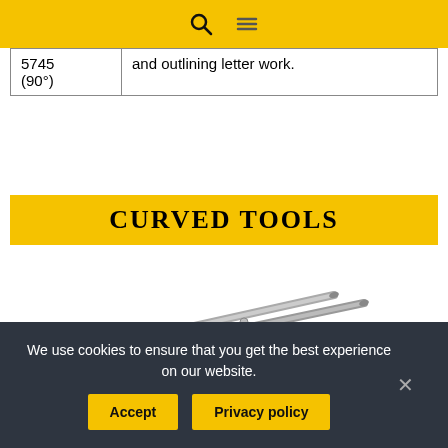Navigation bar with search and menu icons
| 5745
(90°) | and outlining letter work. |
CURVED TOOLS
[Figure (photo): Curved tools (scissors or similar pointed metallic tools) shown from above on white background]
We use cookies to ensure that you get the best experience on our website.
Accept  Privacy policy